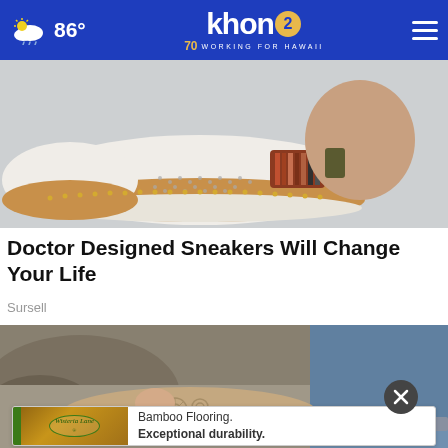khon2 WORKING FOR HAWAII | 86°
[Figure (photo): Close-up of white slip-on sneakers with brown/tan trim, decorative perforations, and a colorful striped elastic panel on a light background. A person's foot/ankle is visible.]
Doctor Designed Sneakers Will Change Your Life
Sursell
[Figure (photo): Close-up of tan/beige laser-cut flat sandals with floral cutout pattern, worn by a person near rocky ground. Jeans visible in background.]
[Figure (other): Advertisement banner for Wisteria Lane Bamboo Flooring with text: Bamboo Flooring. Exceptional durability.]